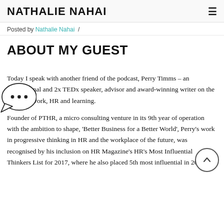NATHALIE NAHAI
Posted by Nathalie Nahai /
ABOUT MY GUEST
Today I speak with another friend of the podcast, Perry Timms – an international and 2x TEDx speaker, advisor and award-winning writer on the future of work, HR and learning.
Founder of PTHR, a micro consulting venture in its 9th year of operation with the ambition to shape, 'Better Business for a Better World', Perry's work in progressive thinking in HR and the workplace of the future, was recognised by his inclusion on HR Magazine's HR's Most Influential Thinkers List for 2017, where he also placed 5th most influential in 2018.